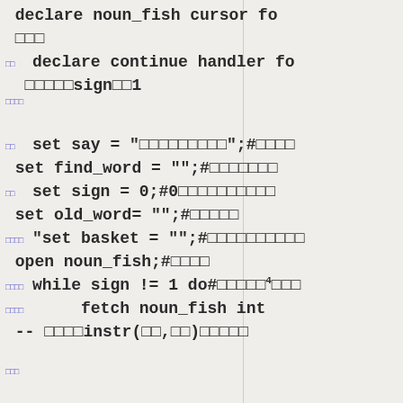declare noun_fish cursor fo
□□□
□□declare continue handler fo
□□□□□sign□□1
□□□□

set say = "□□□□□□□□□";#□□□□
□□
set find_word = "";#□□□□□□□
□□set sign = 0;#0□□□□□□□□□□
set old_word= "";#□□□□□
□□□□"set basket = "";#□□□□□□□□□□
open noun_fish;#□□□□
□□□□while sign != 1 do#□□□□□1□□□
□□□□    fetch noun_fish int
-- □□□□instr(□□,□□)□□□□□
□□□